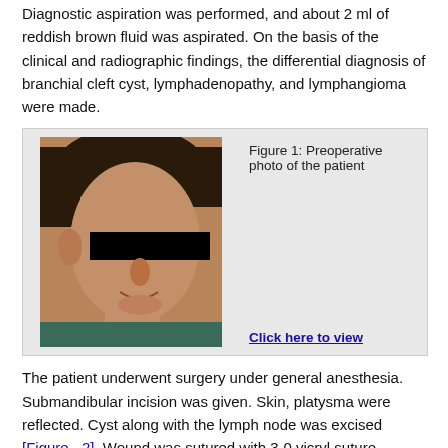Diagnostic aspiration was performed, and about 2 ml of reddish brown fluid was aspirated. On the basis of the clinical and radiographic findings, the differential diagnosis of branchial cleft cyst, lymphadenopathy, and lymphangioma were made.
[Figure (photo): Preoperative photo of a patient showing side profile of a child's face with eyes redacted by a black bar. Caption: Figure 1: Preoperative photo of the patient. Link: Click here to view]
The patient underwent surgery under general anesthesia. Submandibular incision was given. Skin, platysma were reflected. Cyst along with the lymph node was excised [Figure - 2]. Wound was sutured with 3-0 vicryl suture material. The specimen was then submitted for histopathological examination.
Histopathological sections showed connective tissue with large multiple cystic spaces lined by flattened endothelial cells filled with eosinophilic material or empty. Surrounding connective tissue is loose contains numerous adipose tissues infiltrated with lymphocytes and plasma cells. Numerous red blood cells filled spaces of various sizes lined by endothelial cells are observed. Another section